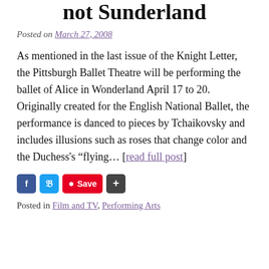not Sunderland
Posted on March 27, 2008
As mentioned in the last issue of the Knight Letter, the Pittsburgh Ballet Theatre will be performing the ballet of Alice in Wonderland April 17 to 20. Originally created for the English National Ballet, the performance is danced to pieces by Tchaikovsky and includes illusions such as roses that change color and the Duchess's “flying… [read full post]
[Figure (infographic): Social share buttons: Facebook, Twitter, Pinterest Save, and a plus/share button]
Posted in Film and TV, Performing Arts